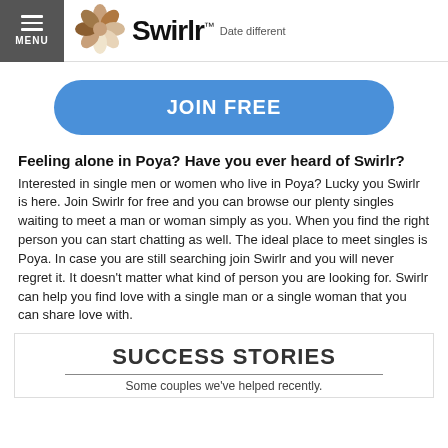MENU | Swirlr™ Date different
[Figure (logo): Swirlr logo with flower icon and tagline 'Date different']
JOIN FREE
Feeling alone in Poya? Have you ever heard of Swirlr?
Interested in single men or women who live in Poya? Lucky you Swirlr is here. Join Swirlr for free and you can browse our plenty singles waiting to meet a man or woman simply as you. When you find the right person you can start chatting as well. The ideal place to meet singles is Poya. In case you are still searching join Swirlr and you will never regret it. It doesn't matter what kind of person you are looking for. Swirlr can help you find love with a single man or a single woman that you can share love with.
SUCCESS STORIES
Some couples we've helped recently.